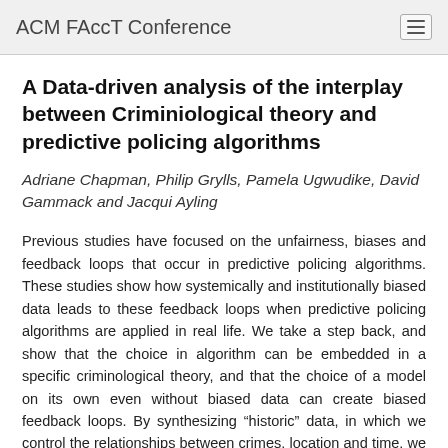ACM FAccT Conference
A Data-driven analysis of the interplay between Criminiological theory and predictive policing algorithms
Adriane Chapman, Philip Grylls, Pamela Ugwudike, David Gammack and Jacqui Ayling
Previous studies have focused on the unfairness, biases and feedback loops that occur in predictive policing algorithms. These studies show how systemically and institutionally biased data leads to these feedback loops when predictive policing algorithms are applied in real life. We take a step back, and show that the choice in algorithm can be embedded in a specific criminological theory, and that the choice of a model on its own even without biased data can create biased feedback loops. By synthesizing “historic” data, in which we control the relationships between crimes, location and time, we show that the current predictive policing algorithms create biased feedback loops even with completely random data. We then review the process of creation and deployment of these predictive systems, and